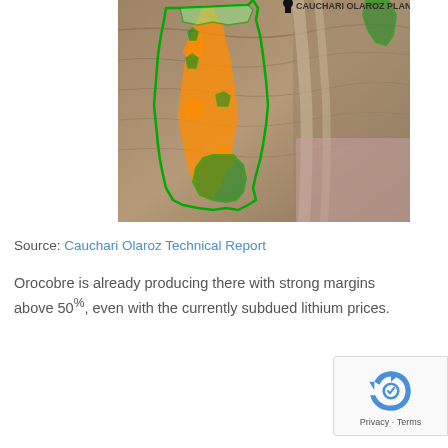[Figure (map): Aerial/satellite map showing mining claim boundaries for Cauchari Olaroz project. Orange and green polygon outlines mark different claim areas over arid desert terrain with brown/tan soil. Partial pink/mauve overlay in lower right corner indicating a different zone.]
Source: Cauchari Olaroz Technical Report
Orocobre is already producing there with strong margins above 50%, even with the currently subdued lithium prices.